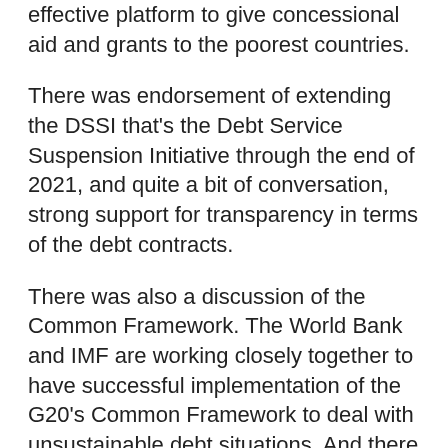effective platform to give concessional aid and grants to the poorest countries.
There was endorsement of extending the DSSI that's the Debt Service Suspension Initiative through the end of 2021, and quite a bit of conversation, strong support for transparency in terms of the debt contracts.
There was also a discussion of the Common Framework. The World Bank and IMF are working closely together to have successful implementation of the G20's Common Framework to deal with unsustainable debt situations. And there was a call for the private sector to provide comparable treatment with regard to debt.